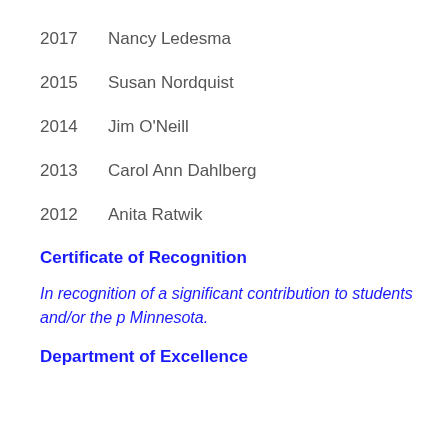2017    Nancy Ledesma
2015    Susan Nordquist
2014    Jim O'Neill
2013    Carol Ann Dahlberg
2012    Anita Ratwik
Certificate of Recognition
In recognition of a significant contribution to students and/or the p Minnesota.
Department of Excellence